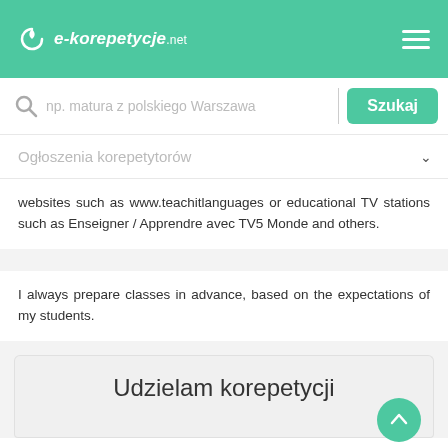[Figure (logo): e-korepetycje.net logo with leaf icon on green header bar]
np. matura z polskiego Warszawa
Szukaj
Ogłoszenia korepetytorów
websites such as www.teachitlanguages or educational TV stations such as Enseigner / Apprendre avec TV5 Monde and others.
I always prepare classes in advance, based on the expectations of my students.
Udzielam korepetycji